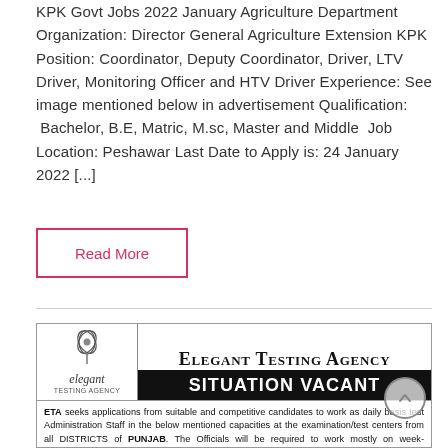KPK Govt Jobs 2022 January Agriculture Department Organization: Director General Agriculture Extension KPK Position: Coordinator, Deputy Coordinator, Driver, LTV Driver, Monitoring Officer and HTV Driver Experience: See image mentioned below in advertisement Qualification: Bachelor, B.E, Matric, M.sc, Master and Middle Job Location: Peshawar Last Date to Apply is: 24 January 2022 […]
Read More
[Figure (other): Elegant Testing Agency advertisement for Situation Vacant. ETA seeks applications from suitable and competitive candidates to work as daily basis test Administration Staff in the below mentioned capacities at the examination/test centers from all DISTRICTS of PUNJAB. The Officials will be required to work mostly on week-ends(Saturday & Sunday) for full day and some times may be in the evening of week days as well.]